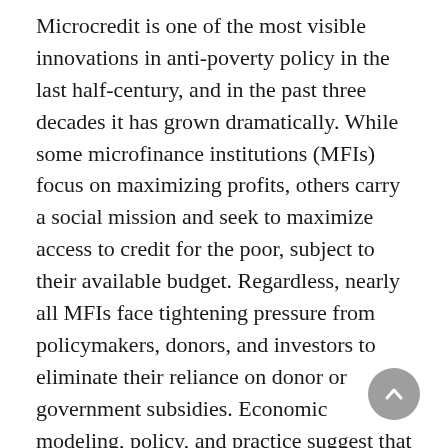Microcredit is one of the most visible innovations in anti-poverty policy in the last half-century, and in the past three decades it has grown dramatically. While some microfinance institutions (MFIs) focus on maximizing profits, others carry a social mission and seek to maximize access to credit for the poor, subject to their available budget. Regardless, nearly all MFIs face tightening pressure from policymakers, donors, and investors to eliminate their reliance on donor or government subsidies. Economic modeling, policy, and practice suggest that loan pricing (selecting interest rates and repayment conditions) is critically related to reliance on these subsidies. Yet existing research offers little insight into interest rate sensitivities in MFI markets, and little methodological guidance on how to determine optimal interest rates. Instead MFIs and policymakers rely largely on intuition, and often [continues]